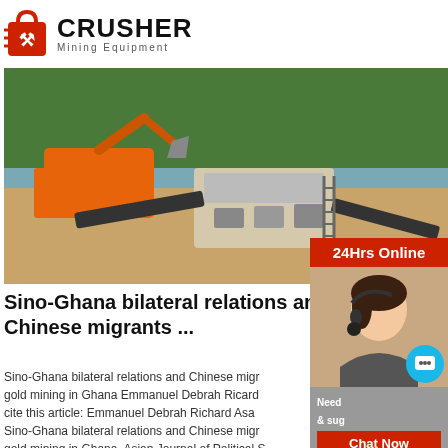CRUSHER Mining Equipment
[Figure (photo): Mining equipment excavator and crusher machinery at a quarry site with forest in background]
Sino-Ghana bilateral relations and Chinese migrants ...
Sino-Ghana bilateral relations and Chinese migrants gold mining in Ghana Emmanuel Debrah Richard Asante cite this article: Emmanuel Debrah Richard Asante Sino-Ghana bilateral relations and Chinese migrants gold mining in Ghana, Asian Journal of Political Science, 286-307, DOI: 10.1080/02185377.2019.1669...
Read More
[Figure (photo): Mining site with industrial equipment and structures]
[Figure (photo): 24Hrs Online customer service representative woman with headset]
24Hrs Online
Need & suggestions Chat Now
Enquiry
limingjlmofen@sina.com